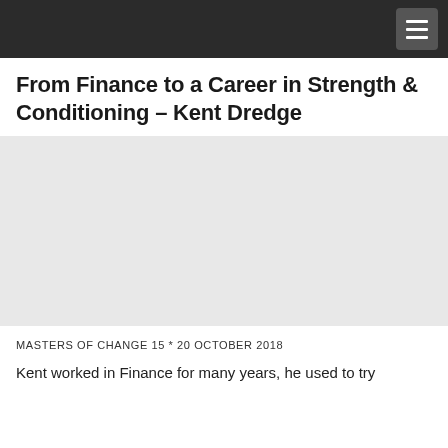From Finance to a Career in Strength & Conditioning – Kent Dredge
[Figure (photo): Large image placeholder area (grey/blank), likely a photo of Kent Dredge or related to strength and conditioning.]
MASTERS OF CHANGE 15 * 20 OCTOBER 2018
Kent worked in Finance for many years, he used to try